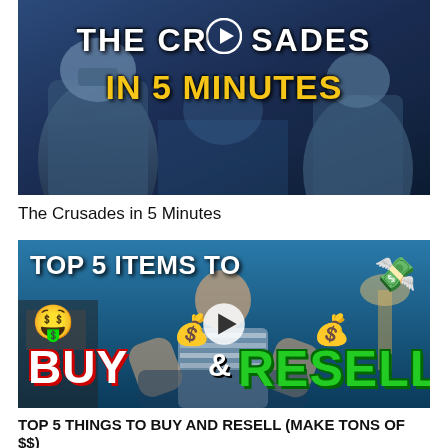[Figure (screenshot): YouTube video thumbnail: The Crusades in 5 Minutes. White text 'THE CRUSADES' with play button icon replacing the letter 'O', yellow text 'IN 5 MINUTES', medieval crusader art background.]
The Crusades in 5 Minutes
[Figure (screenshot): YouTube video thumbnail: TOP 5 ITEMS TO BUY & RESELL. Man in striped shirt with money emoji, money bags, flying dollar bills. 'BUY' in red outlined white text, 'RESELL' in green text, circular play button overlay.]
TOP 5 THINGS TO BUY AND RESELL (MAKE TONS OF $$)